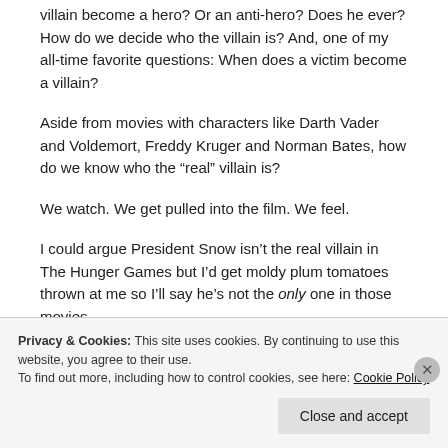villain become a hero? Or an anti-hero? Does he ever? How do we decide who the villain is? And, one of my all-time favorite questions: When does a victim become a villain?
Aside from movies with characters like Darth Vader and Voldemort, Freddy Kruger and Norman Bates, how do we know who the “real” villain is?
We watch. We get pulled into the film. We feel.
I could argue President Snow isn’t the real villain in The Hunger Games but I’d get moldy plum tomatoes thrown at me so I’ll say he’s not the only one in those movies.
In The Matrix, the big bad is Agent Smith. (So says everyone.)
Privacy & Cookies: This site uses cookies. By continuing to use this website, you agree to their use.
To find out more, including how to control cookies, see here: Cookie Policy